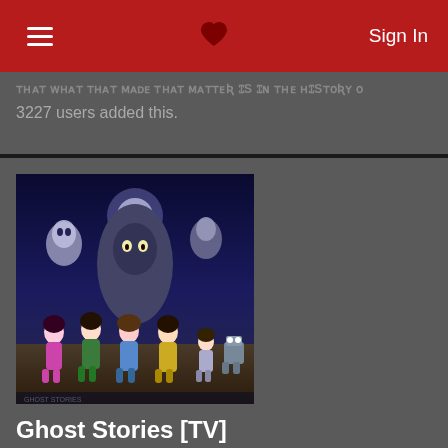Sign In
3227 users added this.
[Figure (illustration): Anime artwork showing group of characters from Ghost Stories anime]
Ghost Stories [TV]
Mrs. Salt gave it a 10.
Originally about a group of elementary students facing various Japanese spirits, the English dub turned it into a comedy making copious amounts of pop culture references, and turning the characters into hilarious parodies. A must see for everyone that can
604 users added this.